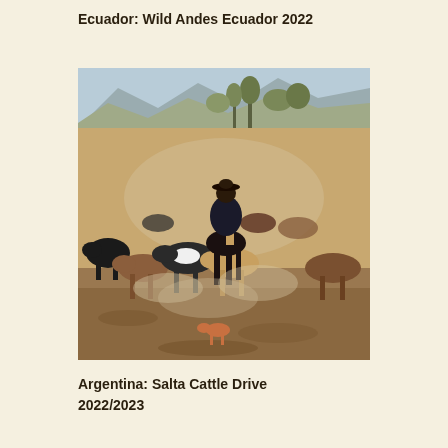Ecuador: Wild Andes Ecuador 2022
[Figure (photo): A cowboy on horseback herding cattle on a dusty trail, seen from behind. The cattle are various colors — black, brown, and tan. A small dog follows at the back. The background shows mountains and trees under a hazy sky.]
Argentina: Salta Cattle Drive 2022/2023